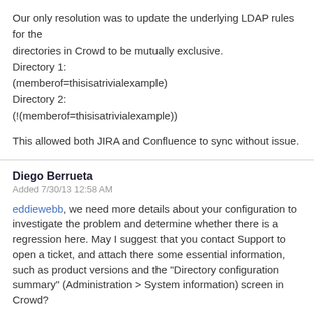Our only resolution was to update the underlying LDAP rules for the directories in Crowd to be mutually exclusive.
Directory 1:
(memberof=thisisatrivialexample)
Directory 2:
(!(memberof=thisisatrivialexample))

This allowed both JIRA and Confluence to sync without issue.
Diego Berrueta
Added 7/30/13 12:58 AM

eddiewebb, we need more details about your configuration to investigate the problem and determine whether there is a regression here. May I suggest that you contact Support to open a ticket, and attach there some essential information, such as product versions and the "Directory configuration summary" (Administration > System information) screen in Crowd?
Denise Unterwurzacher [Atlassian]
Added 4/21/15 2:18 AM

I have tested and confirmed that this issue no longer occurs in